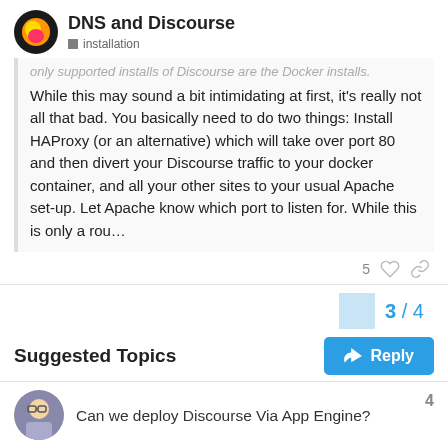DNS and Discourse
installation
only supported installs of Discourse are the Docker installs. While this may sound a bit intimidating at first, it's really not all that bad. You basically need to do two things: Install HAProxy (or an alternative) which will take over port 80 and then divert your Discourse traffic to your docker container, and all your other sites to your usual Apache set-up. Let Apache know which port to listen for. While this is only a rou…
5
3 / 4
Reply
Suggested Topics
Can we deploy Discourse Via App Engine?
4